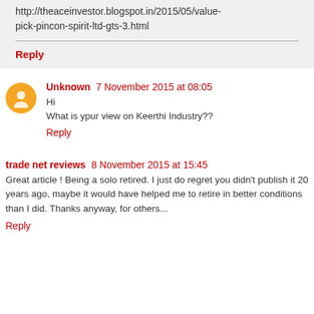http://theaceinvestor.blogspot.in/2015/05/value-pick-pincon-spirit-ltd-gts-3.html
Reply
Unknown  7 November 2015 at 08:05
Hi
What is ypur view on Keerthi Industry??
Reply
trade net reviews  8 November 2015 at 15:45
Great article ! Being a solo retired. I just do regret you didn't publish it 20 years ago, maybe it would have helped me to retire in better conditions than I did. Thanks anyway, for others...
Reply